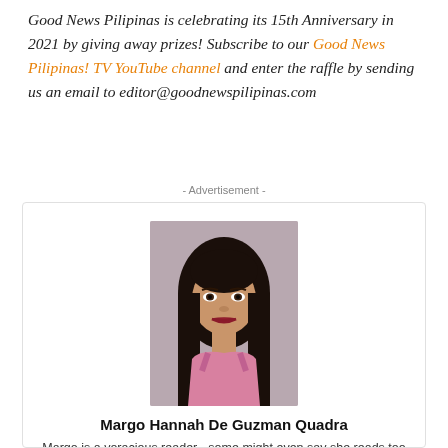Good News Pilipinas is celebrating its 15th Anniversary in 2021 by giving away prizes! Subscribe to our Good News Pilipinas! TV YouTube channel and enter the raffle by sending us an email to editor@goodnewspilipinas.com
- Advertisement -
[Figure (photo): Portrait photo of Margo Hannah De Guzman Quadra, a young woman with long straight dark hair wearing a pink top]
Margo Hannah De Guzman Quadra
Margo is a voracious reader - some might even say she reads too much for her own good. She majored in BS Psychology and hopes to become a forensic psychologist one day. She's also an aspiring